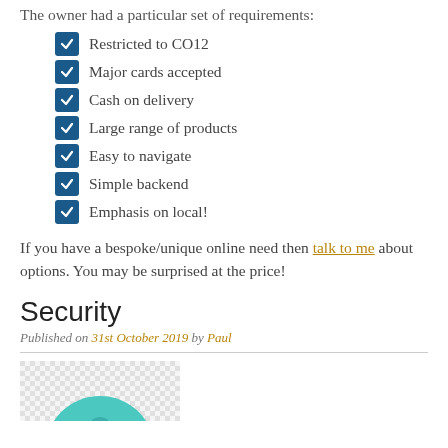The owner had a particular set of requirements:
Restricted to CO12
Major cards accepted
Cash on delivery
Large range of products
Easy to navigate
Simple backend
Emphasis on local!
If you have a bespoke/unique online need then talk to me about options. You may be surprised at the price!
Security
Published on 31st October 2019 by Paul
[Figure (illustration): Circular teal/turquoise lock or shield icon on a light checkered background, partially visible at bottom of page]